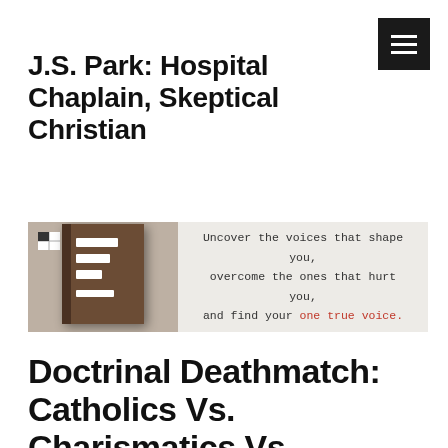J.S. Park: Hospital Chaplain, Skeptical Christian
[Figure (illustration): Book advertisement banner. Left side shows a brown book with white label strips on a tan/grey background with a flag-like icon. Right side shows text in typewriter font: 'Uncover the voices that shape you, overcome the ones that hurt you, and find your one true voice.' with 'one true voice.' in red.]
Doctrinal Deathmatch: Catholics Vs. Charismatics Vs. Protestants – When Doctrine Divides Us (And